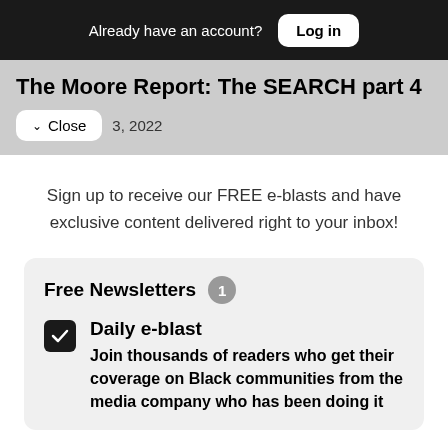Already have an account? Log in
The Moore Report: The SEARCH part 4
3, 2022
Sign up to receive our FREE e-blasts and have exclusive content delivered right to your inbox!
Free Newsletters 1
Daily e-blast
Join thousands of readers who get their coverage on Black communities from the media company who has been doing it